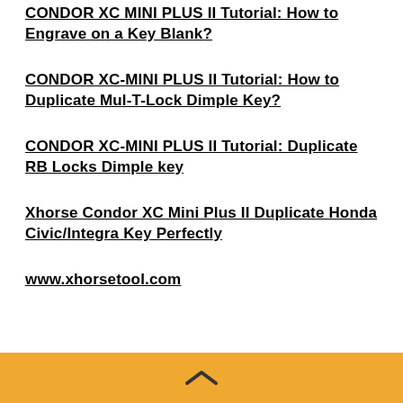CONDOR XC MINI PLUS II Tutorial: How to Engrave on a Key Blank?
CONDOR XC-MINI PLUS II Tutorial: How to Duplicate Mul-T-Lock Dimple Key?
CONDOR XC-MINI PLUS II Tutorial: Duplicate RB Locks Dimple key
Xhorse Condor XC Mini Plus II Duplicate Honda Civic/Integra Key Perfectly
www.xhorsetool.com
^